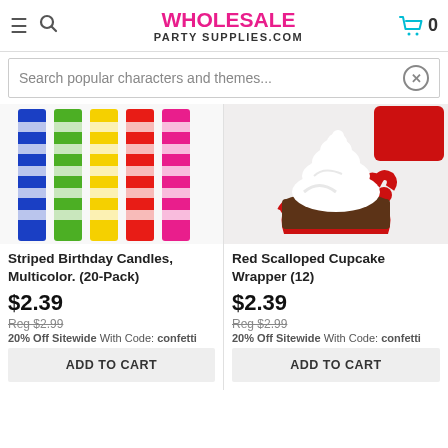WHOLESALE PARTY SUPPLIES.COM
Search popular characters and themes...
[Figure (photo): Striped birthday candles in multicolor (blue, green, yellow, red, pink) arranged in a fan, with white stripe bands]
Striped Birthday Candles, Multicolor. (20-Pack)
$2.39
Reg $2.99
20% Off Sitewide With Code: confetti
[Figure (photo): Red scalloped cupcake wrapper holding a chocolate cupcake with white frosting swirl, with additional red wrapper in background]
Red Scalloped Cupcake Wrapper (12)
$2.39
Reg $2.99
20% Off Sitewide With Code: confetti